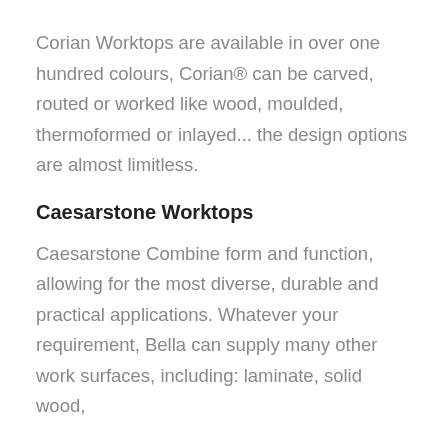Corian Worktops are available in over one hundred colours, Corian® can be carved, routed or worked like wood, moulded, thermoformed or inlayed... the design options are almost limitless.
Caesarstone Worktops
Caesarstone Combine form and function, allowing for the most diverse, durable and practical applications. Whatever your requirement, Bella can supply many other work surfaces, including: laminate, solid wood,